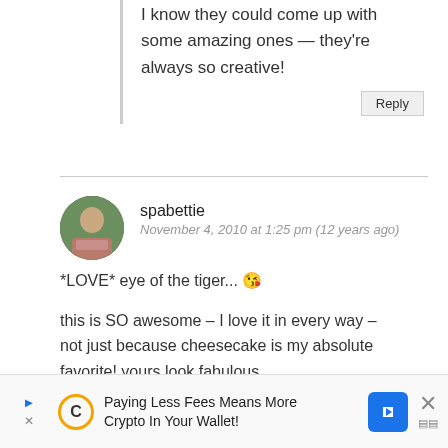I know they could come up with some amazing ones — they're always so creative!
Reply
spabettie
November 4, 2010 at 1:25 pm (12 years ago)
*LOVE* eye of the tiger... 😘
this is SO awesome – I love it in every way – not just because cheesecake is my absolute favorite! yours look fabulous.
you are funny and fun, and I want to come hang out in your kitchen! <3 you totally have
Paying Less Fees Means More Crypto In Your Wallet!